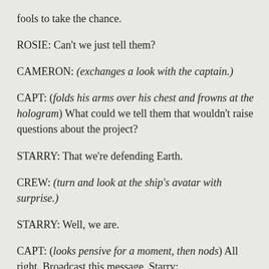fools to take the chance.
ROSIE: Can't we just tell them?
CAMERON: (exchanges a look with the captain.)
CAPT: (folds his arms over his chest and frowns at the hologram) What could we tell them that wouldn't raise questions about the project?
STARRY: That we're defending Earth.
CREW: (turn and look at the ship's avatar with surprise.)
STARRY: Well, we are.
CAPT: (looks pensive for a moment, then nods) All right. Broadcast this message, Starry:
All ships, this is the Starwalker. You may hear many